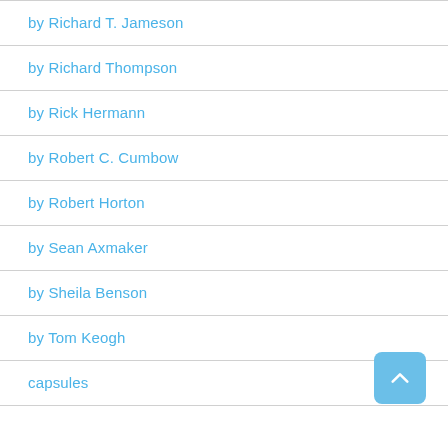by Richard T. Jameson
by Richard Thompson
by Rick Hermann
by Robert C. Cumbow
by Robert Horton
by Sean Axmaker
by Sheila Benson
by Tom Keogh
capsules